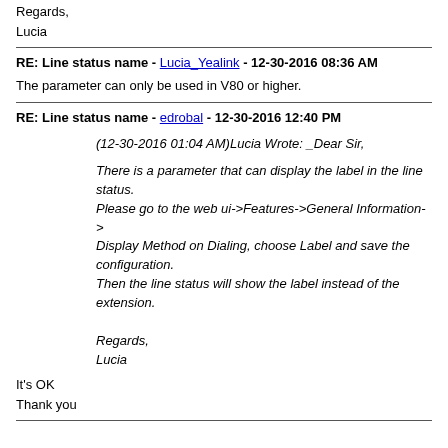Regards,
Lucia
RE: Line status name - Lucia_Yealink - 12-30-2016 08:36 AM
The parameter can only be used in V80 or higher.
RE: Line status name - edrobal - 12-30-2016 12:40 PM
(12-30-2016 01:04 AM)Lucia Wrote: _Dear Sir,

There is a parameter that can display the label in the line status.
Please go to the web ui->Features->General Information->Display Method on Dialing, choose Label and save the configuration.
Then the line status will show the label instead of the extension.

Regards,
Lucia
It's OK
Thank you